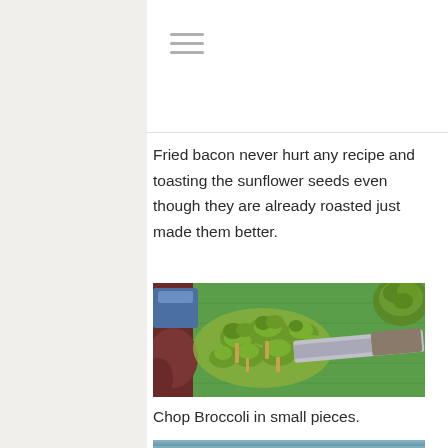[Figure (other): Hamburger menu icon with three horizontal grey lines]
Fried bacon never hurt any recipe and toasting the sunflower seeds even though they are already roasted just made them better.
[Figure (photo): Chopped broccoli florets on a green cutting board with a knife visible]
Chop Broccoli in small pieces.
[Figure (photo): Partial view of another food photo at the bottom edge of the page]